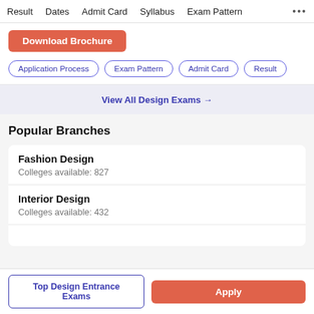Result   Dates   Admit Card   Syllabus   Exam Pattern   •••
Download Brochure
Application Process
Exam Pattern
Admit Card
Result
View All Design Exams →
Popular Branches
Fashion Design
Colleges available: 827
Interior Design
Colleges available: 432
Top Design Entrance Exams   Apply